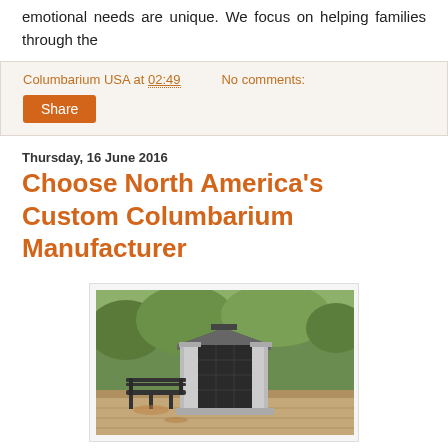emotional needs are unique. We focus on helping families through the
Columbarium USA at 02:49   No comments:
Share
Thursday, 16 June 2016
Choose North America's Custom Columbarium Manufacturer
[Figure (photo): Outdoor columbarium structure with columns and dark panels, a bench in the foreground, surrounded by trees and garden.]
Not all columbarium manufacturers are the same. Impress